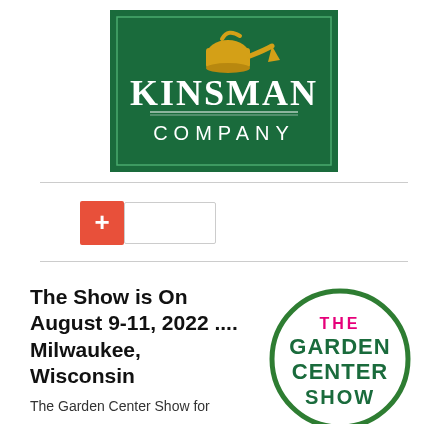[Figure (logo): Kinsman Company logo — green background with gold watering can icon above white serif text KINSMAN COMPANY]
[Figure (other): UI element: orange plus button and empty text input box]
The Show is On August 9-11, 2022 .... Milwaukee, Wisconsin
The Garden Center Show for
[Figure (logo): The Garden Center Show circular logo with green circle border, pink text THE, dark green text GARDEN CENTER, dark green text SHOW]